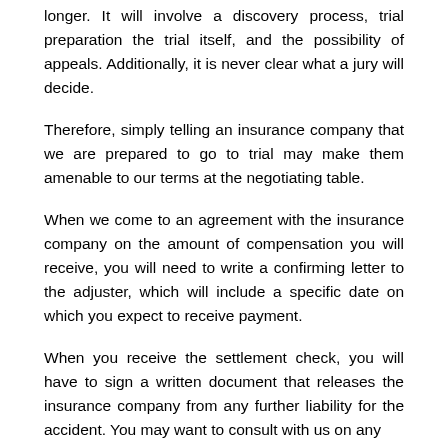longer. It will involve a discovery process, trial preparation the trial itself, and the possibility of appeals. Additionally, it is never clear what a jury will decide.
Therefore, simply telling an insurance company that we are prepared to go to trial may make them amenable to our terms at the negotiating table.
When we come to an agreement with the insurance company on the amount of compensation you will receive, you will need to write a confirming letter to the adjuster, which will include a specific date on which you expect to receive payment.
When you receive the settlement check, you will have to sign a written document that releases the insurance company from any further liability for the accident. You may want to consult with us on any